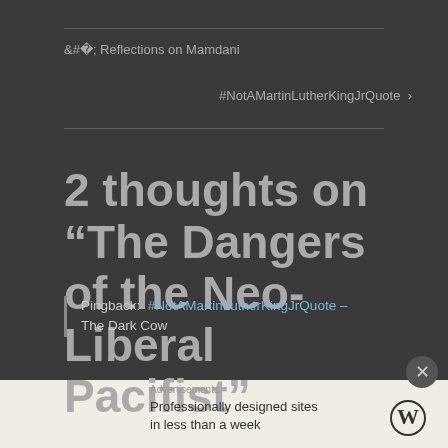< Reflections on Mamdani
#NotAMartinLutherKingJrQuote >
2 thoughts on “The Dangers of the Neo-Liberal Pacifist”
Pingback: #NotAMartinLutherKingJrQuote – The Dark Cow
Advertisements
Professionally designed sites in less than a week